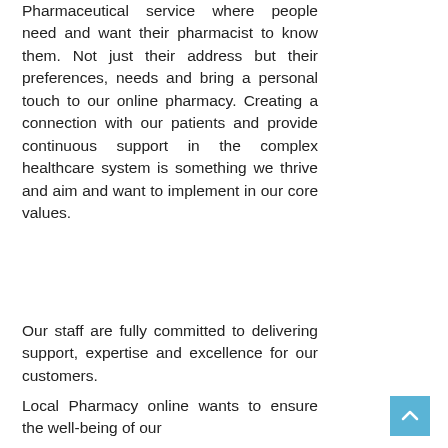Pharmaceutical service where people need and want their pharmacist to know them. Not just their address but their preferences, needs and bring a personal touch to our online pharmacy. Creating a connection with our patients and provide continuous support in the complex healthcare system is something we thrive and aim and want to implement in our core values.
Our staff are fully committed to delivering support, expertise and excellence for our customers.
Local Pharmacy online wants to ensure the well-being of our